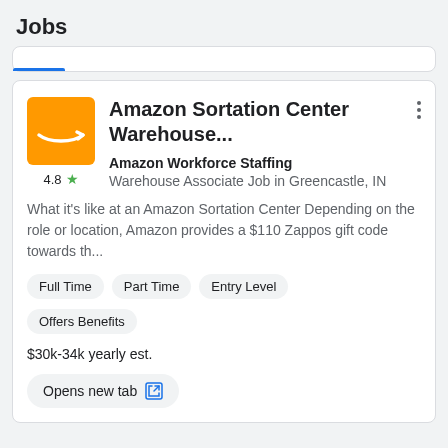Jobs
Amazon Sortation Center Warehouse...
Amazon Workforce Staffing
Warehouse Associate Job in Greencastle, IN
What it's like at an Amazon Sortation Center Depending on the role or location, Amazon provides a $110 Zappos gift code towards th...
Full Time
Part Time
Entry Level
Offers Benefits
$30k-34k yearly est.
Opens new tab